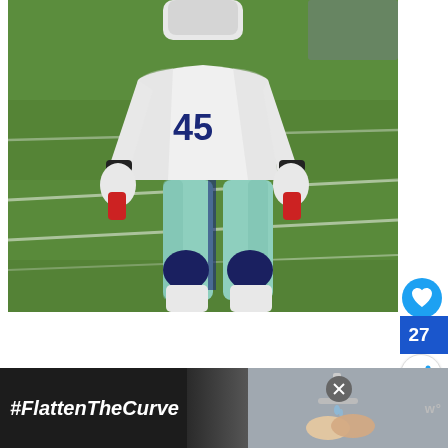[Figure (photo): A football player wearing number 45 in a white jersey and light teal/mint pants with dark navy knee pads and white socks, standing on a green football field. The player is wearing white gloves with black wristbands and holding what appears to be red cans in each hand.]
[Figure (screenshot): Advertisement banner at the bottom showing '#FlattenTheCurve' text in white italic bold font on dark background, with an image of hands washing under a faucet, a close button (X), and a WD logo on the right.]